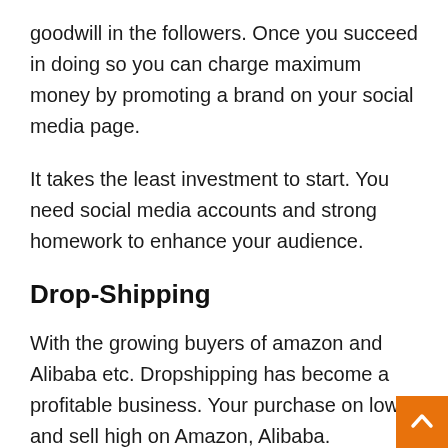goodwill in the followers. Once you succeed in doing so you can charge maximum money by promoting a brand on your social media page.
It takes the least investment to start. You need social media accounts and strong homework to enhance your audience.
Drop-Shipping
With the growing buyers of amazon and Alibaba etc. Dropshipping has become a profitable business. Your purchase on low and sell high on Amazon, Alibaba.
If you have the caliber of finding products at low rates then you can earn by drop shipping. It needs extens